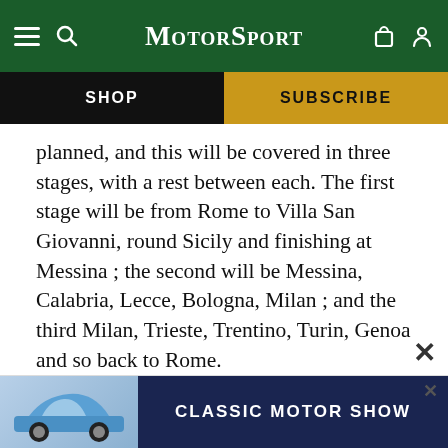MotorSport — navigation header with hamburger menu, search, logo, bag and user icons
[Figure (screenshot): Navigation bar with SHOP (black background) and SUBSCRIBE (gold background) buttons]
planned, and this will be covered in three stages, with a rest between each. The first stage will be from Rome to Villa San Giovanni, round Sicily and finishing at Messina ; the second will be Messina, Calabria, Lecce, Bologna, Milan ; and the third Milan, Trieste, Trentino, Turin, Genoa and so back to Rome.
10 The race will start on May 27th and finish on June 2nd. Only stock cars will be eligible, and there will be classes for 1,100, 1,500, 2,000, 3,00  befor
[Figure (screenshot): Classic Motor Show advertisement banner with a blue Porsche car image on the left and 'CLASSIC MOTOR SHOW' text on dark blue background]